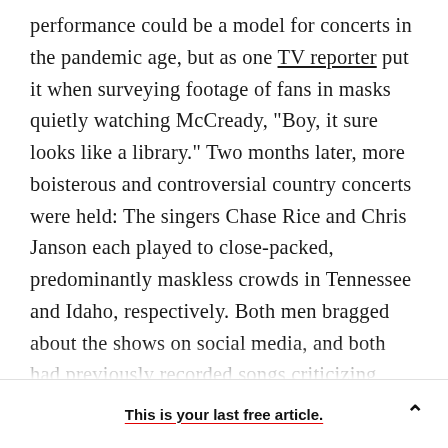performance could be a model for concerts in the pandemic age, but as one TV reporter put it when surveying footage of fans in masks quietly watching McCready, "Boy, it sure looks like a library." Two months later, more boisterous and controversial country concerts were held: The singers Chase Rice and Chris Janson each played to close-packed, predominantly maskless crowds in Tennessee and Idaho, respectively. Both men bragged about the shows on social media, and both had previously recorded songs criticizing pandemic-containment efforts. Rice's lyrics on Instagram in March went like this: "Dear corona, you don't know the heart
This is your last free article.